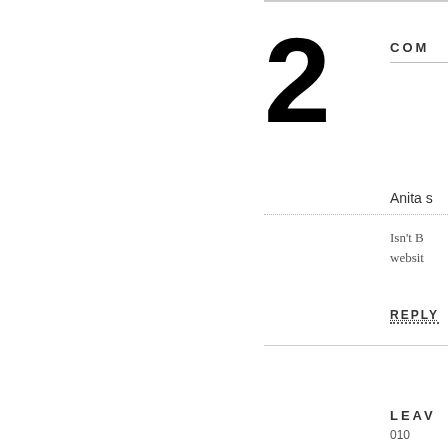2
COM
Anita s
Isn't B websit
REPLY
LEAV 010